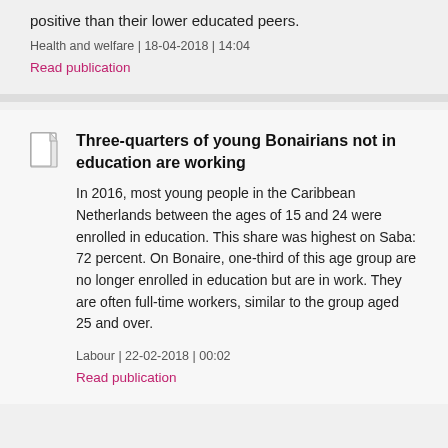positive than their lower educated peers.
Health and welfare | 18-04-2018 | 14:04
Read publication
Three-quarters of young Bonairians not in education are working
In 2016, most young people in the Caribbean Netherlands between the ages of 15 and 24 were enrolled in education. This share was highest on Saba: 72 percent. On Bonaire, one-third of this age group are no longer enrolled in education but are in work. They are often full-time workers, similar to the group aged 25 and over.
Labour | 22-02-2018 | 00:02
Read publication